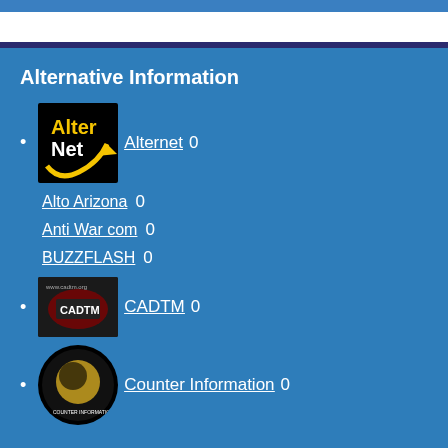Alternative Information
Alternet 0
Alto Arizona 0
Anti War com 0
BUZZFLASH 0
CADTM 0
Counter Information 0